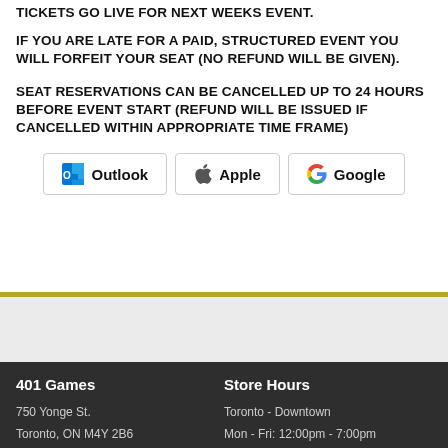TICKETS GO LIVE FOR NEXT WEEKS EVENT.
IF YOU ARE LATE FOR A PAID, STRUCTURED EVENT YOU WILL FORFEIT YOUR SEAT (NO REFUND WILL BE GIVEN).
SEAT RESERVATIONS CAN BE CANCELLED UP TO 24 HOURS BEFORE EVENT START (REFUND WILL BE ISSUED IF CANCELLED WITHIN APPROPRIATE TIME FRAME)
[Figure (other): Three calendar add buttons: Outlook, Apple, Google]
401 Games
750 Yonge St.
Toronto, ON M4Y 2B6
(416) 599-6446
Store Hours
Toronto - Downtown
Mon - Fri: 12:00pm - 7:00pm
Saturday: 12:00pm - 7:00pm